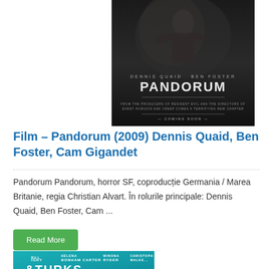[Figure (photo): Movie poster for Pandorum (2009) featuring dark atmospheric image with text 'DENNIS QUAID BEN FOSTER PANDORUM COMING SOON']
Film – Pandorum (2009) Dennis Quaid, Ben Foster, Cam Gigandet
Pandorum Pandorum, horror SF, coproducție Germania / Marea Britanie, regia Christian Alvart. În rolurile principale: Dennis Quaid, Ben Foster, Cam ...
[Figure (photo): Movie poster for Turks & Caicos featuring Bill Nighy, Helena Bonham Carter, Winona Ryder, Christopher Walker text on teal background]